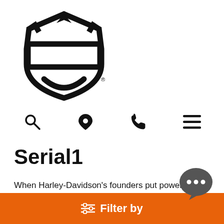[Figure (logo): Harley-Davidson bar and shield logo in black outline]
[Figure (infographic): Navigation icons: search (magnifying glass), location pin, phone, hamburger menu]
Serial1
When Harley-Davidson’s founders put power to two wheels and created their first motorcycle in 1903, they changed the way the world moved forever. Now, more than a century later, Serial 1 Cycles, Powered by Harley-Davidson, has created an eBicycle that's designed to change the way the world moves again.
Filter by